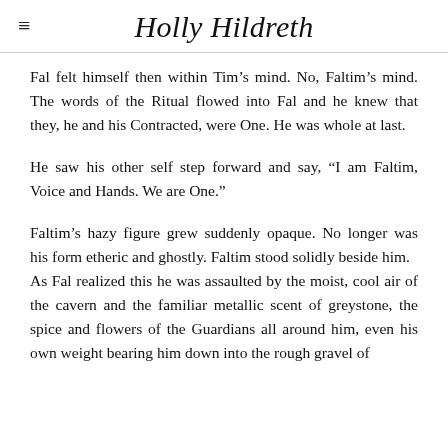Holly Hildreth
Fal felt himself then within Tim’s mind. No, Faltim’s mind. The words of the Ritual flowed into Fal and he knew that they, he and his Contracted, were One. He was whole at last.
He saw his other self step forward and say, “I am Faltim, Voice and Hands. We are One.”
Faltim’s hazy figure grew suddenly opaque. No longer was his form etheric and ghostly. Faltim stood solidly beside him.
As Fal realized this he was assaulted by the moist, cool air of the cavern and the familiar metallic scent of greystone, the spice and flowers of the Guardians all around him, even his own weight bearing him down into the rough gravel of